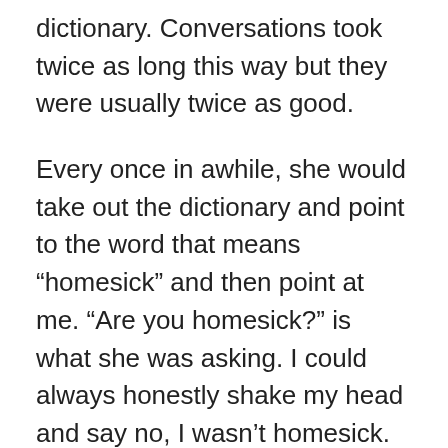dictionary. Conversations took twice as long this way but they were usually twice as good.
Every once in awhile, she would take out the dictionary and point to the word that means “homesick” and then point at me. “Are you homesick?” is what she was asking. I could always honestly shake my head and say no, I wasn’t homesick. And in extremely limited Czech vocabulary I would tell her that I liked it there, in the Czech Republic, in their home. She would then smile and wrap her large farm wife arms around me in a motherly embrace.
She cried when I left. She squeezed me tightly to her and babbled through the tears. Tereza rolled her